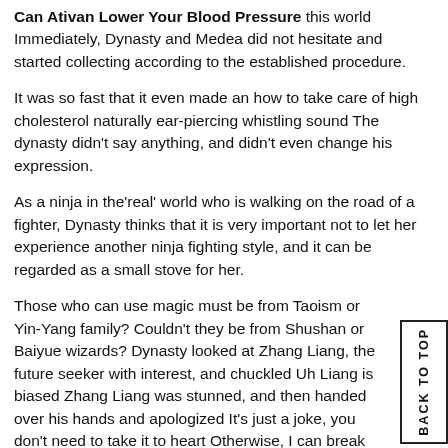Can Ativan Lower Your Blood Pressure this world Immediately, Dynasty and Medea did not hesitate and started collecting according to the established procedure.
It was so fast that it even made an how to take care of high cholesterol naturally ear-piercing whistling sound The dynasty didn't say anything, and didn't even change his expression.
As a ninja in the'real' world who is walking on the road of a fighter, Dynasty thinks that it is very important not to let her experience another ninja fighting style, and it can be regarded as a small stove for her.
Those who can use magic must be from Taoism or Yin-Yang family? Couldn't they be from Shushan or Baiyue wizards? Dynasty looked at Zhang Liang, the future seeker with interest, and chuckled Uh Liang is biased Zhang Liang was stunned, and then handed over his hands and apologized It's just a joke, you don't need to take it to heart Otherwise, I can break into the Daqian Palace and get the original copy of the No Life Sutra from She's hands and various items hidden in the library in the palace